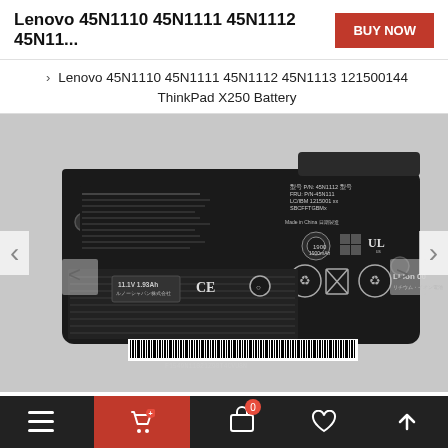Lenovo 45N1110 45N1111 45N1112 45N11...
Lenovo 45N1110 45N1111 45N1112 45N1113 121500144 ThinkPad X250 Battery
[Figure (photo): Photo of a Lenovo ThinkPad X250 battery pack (model 45N1110/45N1111/45N1112/45N1113), showing the black rectangular battery with labels, certification marks (UL, CE, Li-ion 00), recycling symbols, barcode, and text in multiple languages. Navigation arrows visible on left and right sides.]
Navigation bar with menu, cart (0), bag, heart, and up-arrow icons